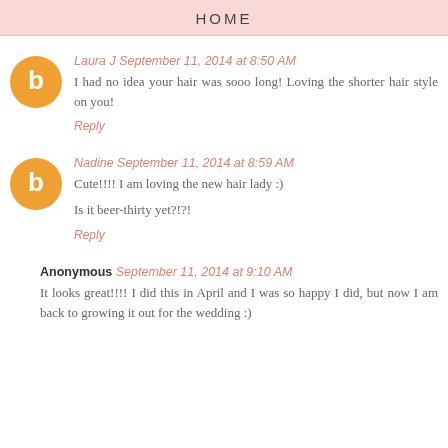HOME
Laura J September 11, 2014 at 8:50 AM
I had no idea your hair was sooo long! Loving the shorter hair style on you!
Reply
Nadine September 11, 2014 at 8:59 AM
Cute!!!! I am loving the new hair lady :)
Is it beer-thirty yet?!?!
Reply
Anonymous September 11, 2014 at 9:10 AM
It looks great!!!! I did this in April and I was so happy I did, but now I am back to growing it out for the wedding :)